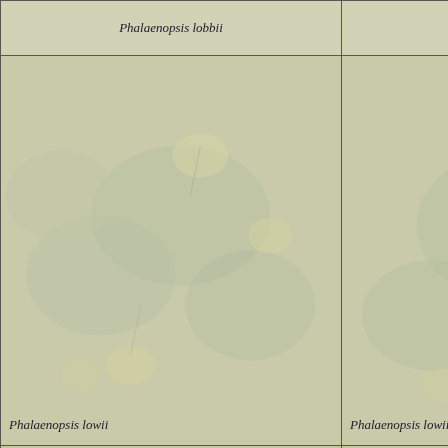Phalaenopsis lobbii
Phalaenopsis lobbii
Phalaenopsis lobbii
Ph...
[Figure (illustration): Botanical illustration of Phalaenopsis lowii showing flowers and leaves on sage-green background]
Phalaenopsis lowii
[Figure (illustration): Botanical illustration of Phalaenopsis lowii]
Phalaenopsis lowii
[Figure (illustration): Botanical illustration of Phalaenopsis lowii]
Phalaenopsis lowii
[Figure (illustration): Botanical illustration of Phalaenopsis lowii, partial]
Ph...
[Figure (illustration): Botanical illustration of Phalaenopsis mannii]
Phalaenopsis mannii
[Figure (illustration): Botanical illustration of Phalaenopsis mariae]
Phalaenopsis mariae
[Figure (illustration): Botanical illustration of Phalaenopsis mariae]
Phalaenopsis mariae
[Figure (illustration): Botanical illustration, partial, Phalaenopsis sp.]
Ph...
[Figure (illustration): Partial botanical illustration row 4 cell 1]
[Figure (illustration): Partial botanical illustration row 4 cell 2]
[Figure (illustration): Partial botanical illustration row 4 cell 3]
[Figure (illustration): Partial botanical illustration row 4 cell 4]